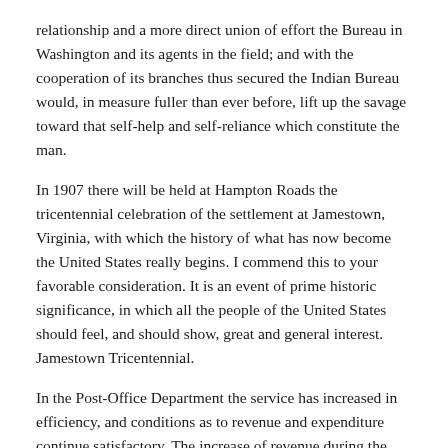relationship and a more direct union of effort the Bureau in Washington and its agents in the field; and with the cooperation of its branches thus secured the Indian Bureau would, in measure fuller than ever before, lift up the savage toward that self-help and self-reliance which constitute the man.
In 1907 there will be held at Hampton Roads the tricentennial celebration of the settlement at Jamestown, Virginia, with which the history of what has now become the United States really begins. I commend this to your favorable consideration. It is an event of prime historic significance, in which all the people of the United States should feel, and should show, great and general interest. Jamestown Tricentennial.
In the Post-Office Department the service has increased in efficiency, and conditions as to revenue and expenditure continue satisfactory. The increase of revenue during the year was $9,358,181.10, or 6.9 per cent, the total receipts amounting to $143,382,624.34. The expenditures were $152,362,116.70, an increase of about 9 per cent over the previous year, being thus $8,979,492.36 in excess of the current revenue. Included in these expenditures was a total appropriation of